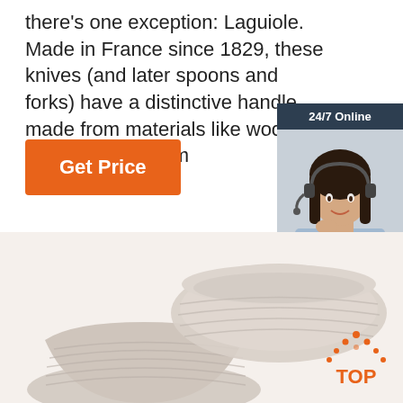there's one exception: Laguiole. Made in France since 1829, these knives (and later spoons and forks) have a distinctive handle made from materials like wood, bone, or colorful m...
[Figure (other): Orange 'Get Price' button]
[Figure (other): 24/7 Online chat widget with a customer service representative photo, 'Click here for free chat!' text, and orange QUOTATION button]
[Figure (photo): Product photo showing ceramic or plastic bowls/cups in beige/taupe color with ribbed texture]
[Figure (logo): TOP logo with orange dotted triangle and orange text 'TOP']